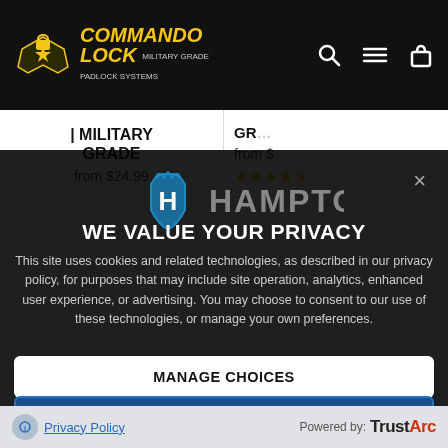Commando Lock - Military Grade Padlock Systems
MILITARY GRADE
from $24.99
GR... from $ ★★★★★
[Figure (logo): Hampton logo - blue shield with H letter and HAMPTON. text]
WE VALUE YOUR PRIVACY
This site uses cookies and related technologies, as described in our privacy policy, for purposes that may include site operation, analytics, enhanced user experience, or advertising. You may choose to consent to our use of these technologies, or manage your own preferences.
MANAGE CHOICES
AGREE & PROCEED
Privacy Policy   Powered by: TrustArc